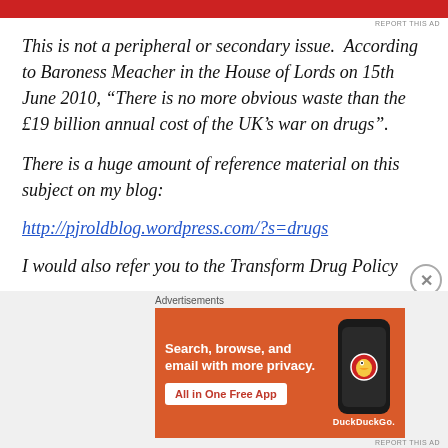[Figure (other): Red advertisement banner at top of page]
This is not a peripheral or secondary issue.  According to Baroness Meacher in the House of Lords on 15th June 2010, “There is no more obvious waste than the £19 billion annual cost of the UK’s war on drugs”.
There is a huge amount of reference material on this subject on my blog:
http://pjroldblog.wordpress.com/?s=drugs
I would also refer you to the Transform Drug Policy
[Figure (other): DuckDuckGo advertisement banner: Search, browse, and email with more privacy. All in One Free App. Shows a smartphone with DuckDuckGo logo.]